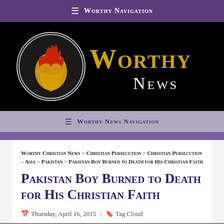≡ Worthy Navigation
[Figure (logo): Worthy News logo: lion head icon in a circle with 'WORTHY NEWS' in gold and white text on black background]
≡ Worthy News Navigation
Worthy Christian News > Christian Persecution > Christian Persecution – Asia > Pakistan > Pakistan Boy Burned to Death for His Christian Faith
Pakistan Boy Burned to Death for His Christian Faith
Thursday, April 16, 2015 | Tag Cloud